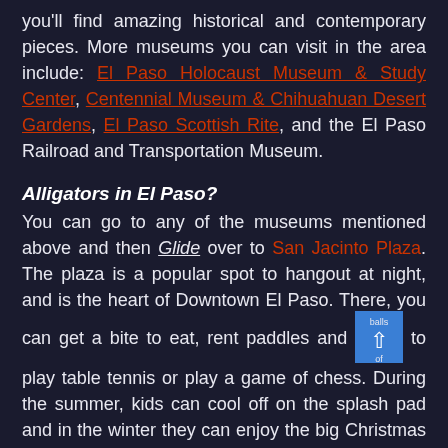you'll find amazing historical and contemporary pieces. More museums you can visit in the area include: El Paso Holocaust Museum & Study Center, Centennial Museum & Chihuahuan Desert Gardens, El Paso Scottish Rite, and the El Paso Railroad and Transportation Museum.
Alligators in El Paso?
You can go to any of the museums mentioned above and then Glide over to San Jacinto Plaza. The plaza is a popular spot to hangout at night, and is the heart of Downtown El Paso. There, you can get a bite to eat, rent paddles and balls to play table tennis or play a game of chess. During the summer, kids can cool off on the splash pad and in the winter they can enjoy the big Christmas parade